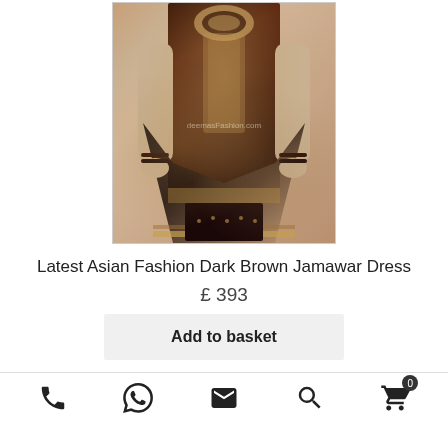[Figure (photo): Dark brown Jamawar dress product photo with gold embroidery, model wearing traditional South Asian outfit, watermark reads 'deemasFashion.com']
Latest Asian Fashion Dark Brown Jamawar Dress
£ 393
Add to basket
Phone | WhatsApp | Email | Search | Cart (0)